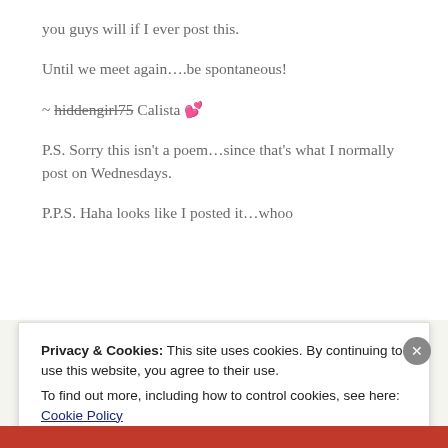you guys will if I ever post this.
Until we meet again….be spontaneous!
~ hiddengirl75 Calista 💕
P.S. Sorry this isn't a poem…since that's what I normally post on Wednesdays.
P.P.S. Haha looks like I posted it…whoo
Privacy & Cookies: This site uses cookies. By continuing to use this website, you agree to their use.
To find out more, including how to control cookies, see here: Cookie Policy
Close and accept